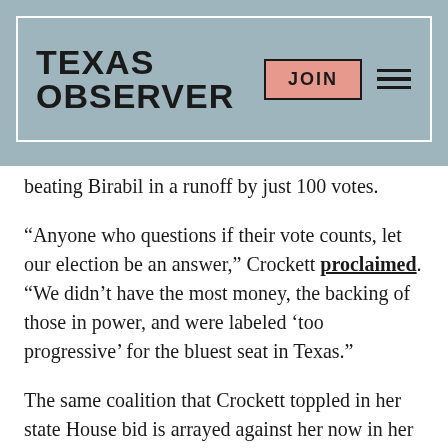TEXAS OBSERVER
beating Birabil in a runoff by just 100 votes.
“Anyone who questions if their vote counts, let our election be an answer,” Crockett proclaimed. “We didn’t have the most money, the backing of those in power, and were labeled ‘too progressive’ for the bluest seat in Texas.”
The same coalition that Crockett toppled in her state House bid is arrayed against her now in her congressional race. Her first win was an upset that sent ripples through the political world of Dallas; now, she’s ready to make waves—unless Hamilton can turn the tide.